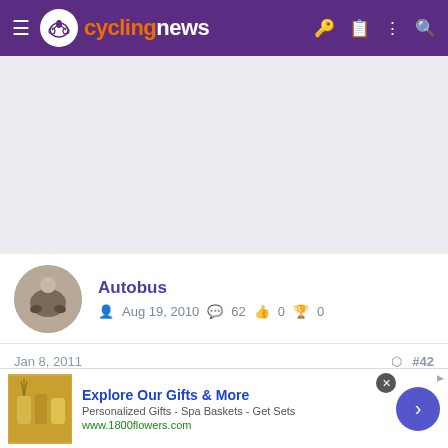cyclingnews
[Figure (other): Gray advertisement placeholder banner]
Autobus
Aug 19, 2010  62  0  0
Jan 8, 2011  #42
I'd rather go on a ride with WonderLance to to hear his latest screed, but then I'd probably fall off my bike laughing. At least he'd be
[Figure (other): 1800flowers advertisement - Explore Our Gifts & More, Personalized Gifts - Spa Baskets - Get Sets, www.1800flowers.com]